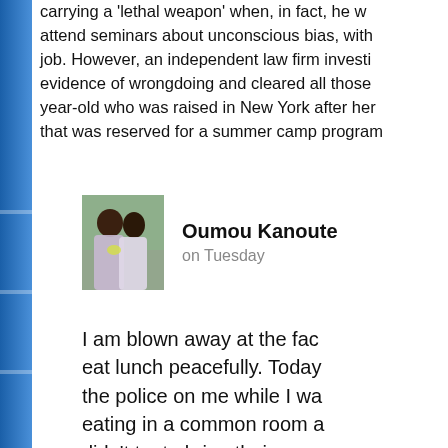carrying a 'lethal weapon' when, in fact, he w... attend seminars about unconscious bias, with ... job. However, an independent law firm investi... evidence of wrongdoing and cleared all those ... year-old who was raised in New York after her ... that was reserved for a summer camp program...
[Figure (photo): Profile photo of Oumou Kanoute showing two women smiling outdoors]
Oumou Kanoute
on Tuesday
I am blown away at the fac... eat lunch peacefully. Today... the police on me while I wa... eating in a common room a... didn't try to bring their conc...